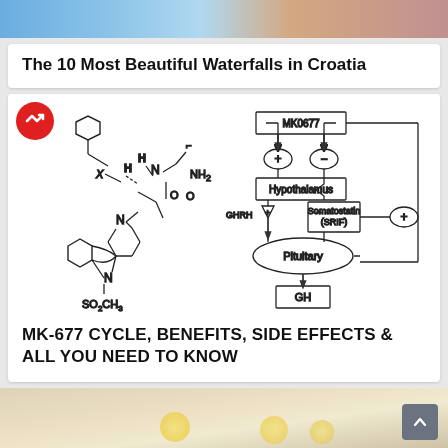[Figure (photo): Top photo of waterfalls/people swimming in Croatia]
The 10 Most Beautiful Waterfalls in Croatia
[Figure (schematic): Chemical structure of MK-677 on left, flowchart on right showing MK0677 → Hypothalamus → Pituitary → GH with GHRH and Somatostatin (SRIF) pathways]
MK-677 CYCLE, BENEFITS, SIDE EFFECTS & ALL YOU NEED TO KNOW
[Figure (photo): Bottom photo, partially visible, appears to show food/desserts on a light background]